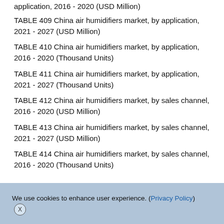application, 2016 - 2020 (USD Million)
TABLE 409 China air humidifiers market, by application, 2021 - 2027 (USD Million)
TABLE 410 China air humidifiers market, by application, 2016 - 2020 (Thousand Units)
TABLE 411 China air humidifiers market, by application, 2021 - 2027 (Thousand Units)
TABLE 412 China air humidifiers market, by sales channel, 2016 - 2020 (USD Million)
TABLE 413 China air humidifiers market, by sales channel, 2021 - 2027 (USD Million)
TABLE 414 China air humidifiers market, by sales channel, 2016 - 2020 (Thousand Units)
We use cookies to enhance user experience. (Privacy Policy) X